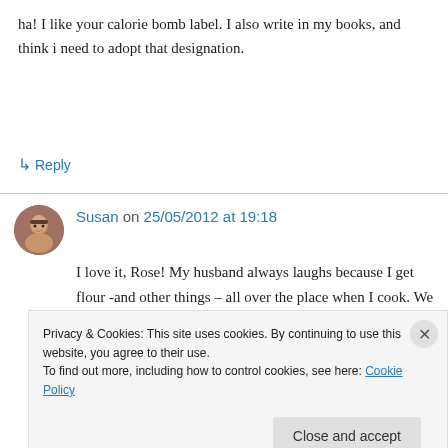ha! I like your calorie bomb label. I also write in my books, and think i need to adopt that designation.
↳ Reply
Susan on 25/05/2012 at 19:18
I love it, Rose! My husband always laughs because I get flour -and other things – all over the place when I cook. We just cook with
Privacy & Cookies: This site uses cookies. By continuing to use this website, you agree to their use.
To find out more, including how to control cookies, see here: Cookie Policy
Close and accept